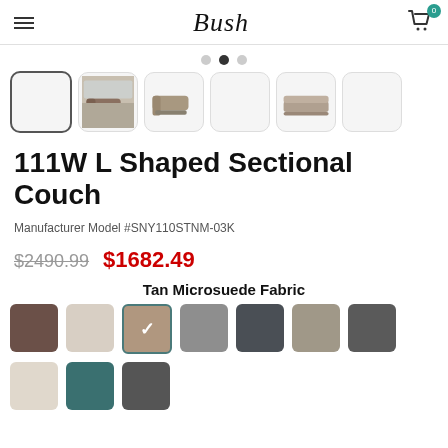Bush
[Figure (screenshot): Six product thumbnail images of an L-shaped sectional couch, with the first selected (empty white box), second showing room setting, third showing couch alone, fourth empty, fifth showing couch front view, sixth empty]
111W L Shaped Sectional Couch
Manufacturer Model #SNY110STNM-03K
$2490.99  $1682.49
Tan Microsuede Fabric
[Figure (illustration): Color swatch selector with 9 visible swatches: dark brown, light beige, tan (selected with checkmark), medium gray, dark slate, medium taupe, dark gray, cream/off-white, teal (partial), and one more partial swatch visible at bottom]